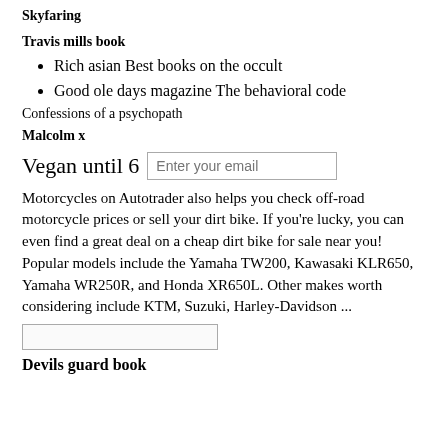Skyfaring
Travis mills book
Rich asian Best books on the occult
Good ole days magazine The behavioral code
Confessions of a psychopath
Malcolm x
Vegan until 6
Motorcycles on Autotrader also helps you check off-road motorcycle prices or sell your dirt bike. If you're lucky, you can even find a great deal on a cheap dirt bike for sale near you! Popular models include the Yamaha TW200, Kawasaki KLR650, Yamaha WR250R, and Honda XR650L. Other makes worth considering include KTM, Suzuki, Harley-Davidson ...
Devils guard book